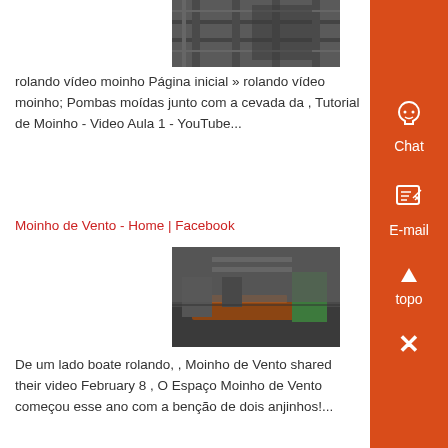[Figure (photo): Factory interior machinery photo (top)]
rolando vídeo moinho Página inicial » rolando vídeo moinho; Pombas moídas junto com a cevada da , Tutorial de Moinho - Video Aula 1 - YouTube...
Moinho de Vento - Home | Facebook
[Figure (photo): Factory interior with machinery and orange equipment photo (bottom)]
De um lado boate rolando, , Moinho de Vento shared their video February 8 , O Espaço Moinho de Vento começou esse ano com a benção de dois anjinhos!...